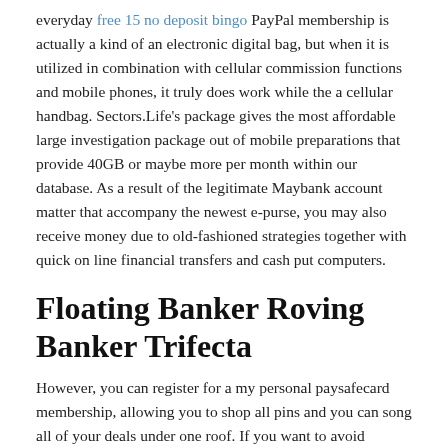everyday free 15 no deposit bingo PayPal membership is actually a kind of an electronic digital bag, but when it is utilized in combination with cellular commission functions and mobile phones, it truly does work while the a cellular handbag. Sectors.Life's package gives the most affordable large investigation package out of mobile preparations that provide 40GB or maybe more per month within our database. As a result of the legitimate Maybank account matter that accompany the newest e-purse, you may also receive money due to old-fashioned strategies together with quick on line financial transfers and cash put computers.
Floating Banker Roving Banker Trifecta
However, you can register for a my personal paysafecard membership, allowing you to shop all pins and you can song all of your deals under one roof. If you want to avoid limitations on the paysafecard incorporate, a suitable choice is to join up having paysafecard Endless, allowing you to spend more than just £two hundred. You do not need a free account so you're able to get a paysafecard code, just use the paysafecard coupon password sent to your current email address, through the checkout. You can utilize Ouisk to send cash in three straight ways- via the Ouisk On